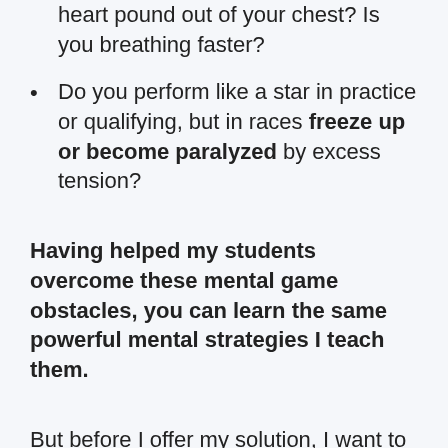heart pound out of your chest? Is you breathing faster?
Do you perform like a star in practice or qualifying, but in races freeze up or become paralyzed by excess tension?
Having helped my students overcome these mental game obstacles, you can learn the same powerful mental strategies I teach them.
But before I offer my solution, I want to